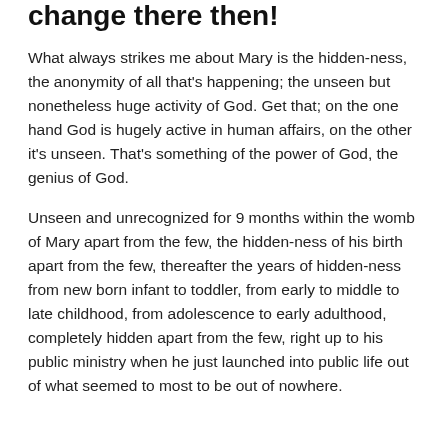change there then!
What always strikes me about Mary is the hidden-ness, the anonymity of all that's happening; the unseen but nonetheless huge activity of God. Get that; on the one hand God is hugely active in human affairs, on the other it's unseen. That's something of the power of God, the genius of God.
Unseen and unrecognized for 9 months within the womb of Mary apart from the few, the hidden-ness of his birth apart from the few, thereafter the years of hidden-ness from new born infant to toddler, from early to middle to late childhood, from adolescence to early adulthood, completely hidden apart from the few, right up to his public ministry when he just launched into public life out of what seemed to most to be out of nowhere.